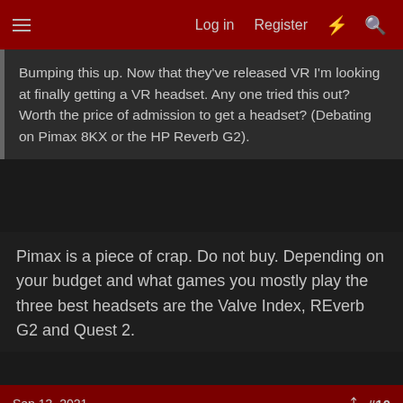Log in  Register  #10
Bumping this up. Now that they've released VR I'm looking at finally getting a VR headset. Any one tried this out? Worth the price of admission to get a headset? (Debating on Pimax 8KX or the HP Reverb G2).
Pimax is a piece of crap. Do not buy. Depending on your budget and what games you mostly play the three best headsets are the Valve Index, REverb G2 and Quest 2.
Sep 13, 2021  #10
learners permit
[H]ard|Gawd
My Pimax 5k super makes my rift s a dust collector. The fov is far superior albeit a bit blurry at the edges makes the rift s feel like a pair of binoculars.